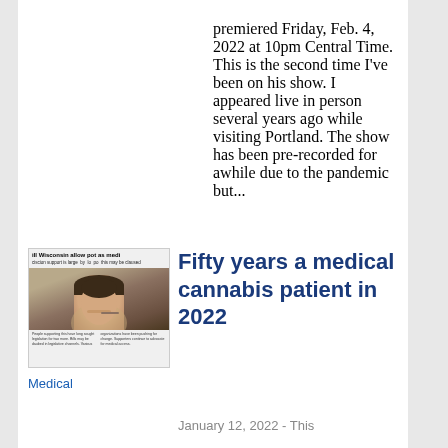premiered Friday, Feb. 4, 2022 at 10pm Central Time. This is the second time I've been on his show. I appeared live in person several years ago while visiting Portland. The show has been pre-recorded for awhile due to the pandemic but...
[Figure (photo): Newspaper clipping with headline 'Will Wisconsin allow pot as medicine' showing a person smoking cannabis]
Medical
Fifty years a medical cannabis patient in 2022
January 12, 2022 - This